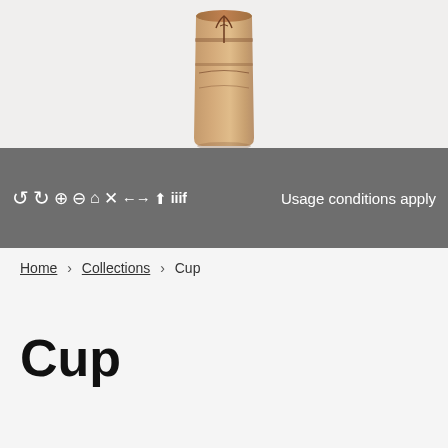[Figure (photo): Photograph of a small wooden or terracotta cup/vessel with painted or carved decorative markings, shown against a light grey-white background. Only the bottom portion of the object is visible.]
Usage conditions apply
Home › Collections › Cup
Cup